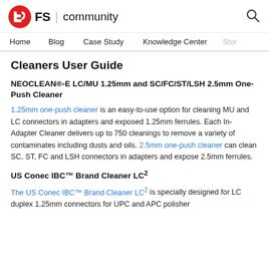FS | community — Home | Blog | Case Study | Knowledge Center | Story
Cleaners User Guide
NEOCLEAN®-E LC/MU 1.25mm and SC/FC/ST/LSH 2.5mm One-Push Cleaner
1.25mm one-push cleaner is an easy-to-use option for cleaning MU and LC connectors in adapters and exposed 1.25mm ferrules. Each In-Adapter Cleaner delivers up to 750 cleanings to remove a variety of contaminates including dusts and oils. 2.5mm one-push cleaner can clean SC, ST, FC and LSH connectors in adapters and expose 2.5mm ferrules.
US Conec IBC™ Brand Cleaner LC²
The US Conec IBC™ Brand Cleaner LC² is specially designed for LC duplex 1.25mm connectors for UPC and APC polisher